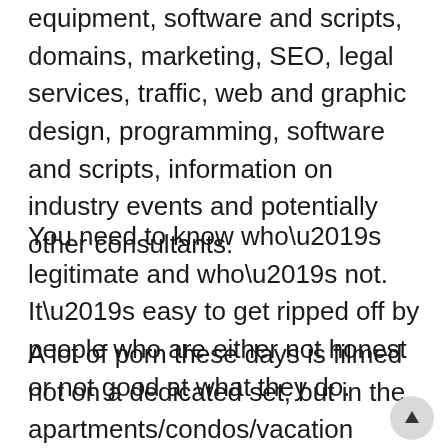equipment, software and scripts, domains, marketing, SEO, legal services, traffic, web and graphic design, programming, software and scripts, information on industry events and potentially other consultants.
You need to know who’s legitimate and who’s not. It’s easy to get ripped off by people who are either not honest or not good at what they do.
A lot of porn these days is filmed not on a dedicated set, but in the apartments/condos/vacation homes of directors and other industry folks that all trade with each o for more variety. This is characteristic of the ‘pro-